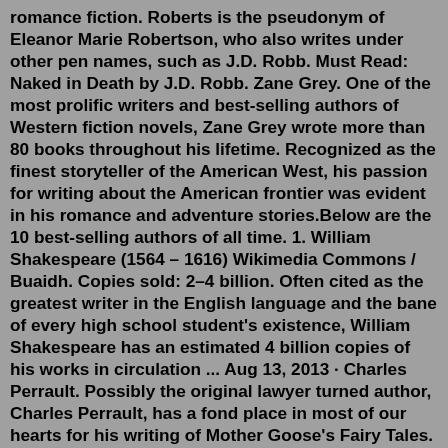romance fiction. Roberts is the pseudonym of Eleanor Marie Robertson, who also writes under other pen names, such as J.D. Robb. Must Read: Naked in Death by J.D. Robb. Zane Grey. One of the most prolific writers and best-selling authors of Western fiction novels, Zane Grey wrote more than 80 books throughout his lifetime. Recognized as the finest storyteller of the American West, his passion for writing about the American frontier was evident in his romance and adventure stories.Below are the 10 best-selling authors of all time. 1. William Shakespeare (1564 – 1616) Wikimedia Commons / Buaidh. Copies sold: 2–4 billion. Often cited as the greatest writer in the English language and the bane of every high school student's existence, William Shakespeare has an estimated 4 billion copies of his works in circulation ... Aug 13, 2013 · Charles Perrault. Possibly the original lawyer turned author, Charles Perrault, has a fond place in most of our hearts for his writing of Mother Goose's Fairy Tales.